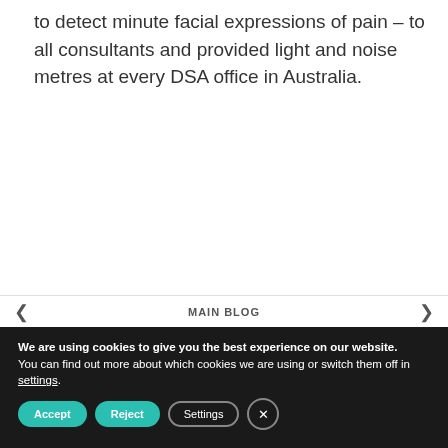to detect minute facial expressions of pain – to all consultants and provided light and noise metres at every DSA office in Australia.
< MAIN BLOG >
We are using cookies to give you the best experience on our website.
You can find out more about which cookies we are using or switch them off in settings.